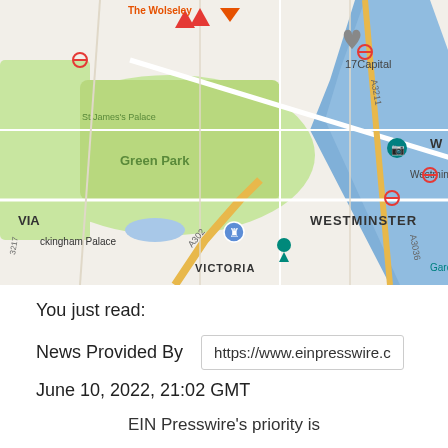[Figure (map): Google Maps screenshot showing central London area including Green Park, St James's Palace, Buckingham Palace, Westminster, Victoria, Big Ben (temporarily closed), lastminute.com London Eye, Garden Museum, The Mall, and River Thames with roads A302, A3211, A3036, A3217 labeled. Map shows parks in green, water in blue, roads in white/yellow/orange.]
You just read:
News Provided By
https://www.einpresswire.c
June 10, 2022, 21:02 GMT
EIN Presswire's priority is